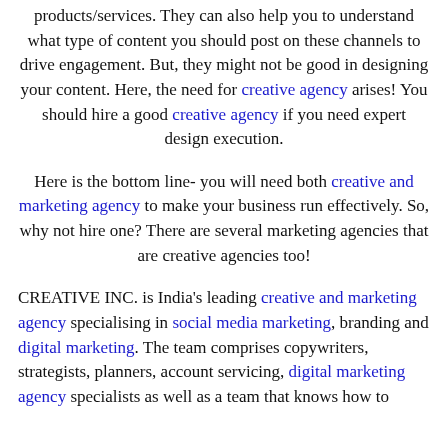products/services. They can also help you to understand what type of content you should post on these channels to drive engagement. But, they might not be good in designing your content. Here, the need for creative agency arises! You should hire a good creative agency if you need expert design execution.
Here is the bottom line- you will need both creative and marketing agency to make your business run effectively. So, why not hire one? There are several marketing agencies that are creative agencies too!
CREATIVE INC. is India's leading creative and marketing agency specialising in social media marketing, branding and digital marketing. The team comprises copywriters, strategists, planners, account servicing, digital marketing agency specialists as well as a team that knows how to